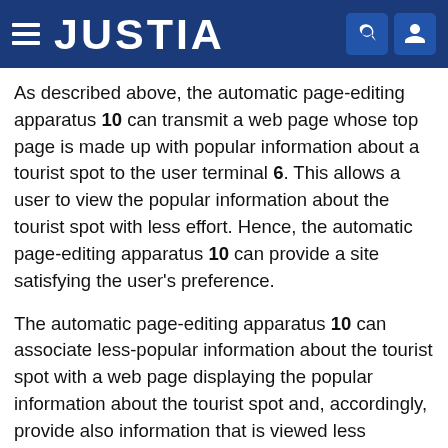JUSTIA
As described above, the automatic page-editing apparatus 10 can transmit a web page whose top page is made up with popular information about a tourist spot to the user terminal 6. This allows a user to view the popular information about the tourist spot with less effort. Hence, the automatic page-editing apparatus 10 can provide a site satisfying the user's preference.
The automatic page-editing apparatus 10 can associate less-popular information about the tourist spot with a web page displaying the popular information about the tourist spot and, accordingly, provide also information that is viewed less frequently without omission.
The automatic page-editing apparatus 10 can feed back popularity of each block of the tourist spot to the source, from which the block is collected, thereby